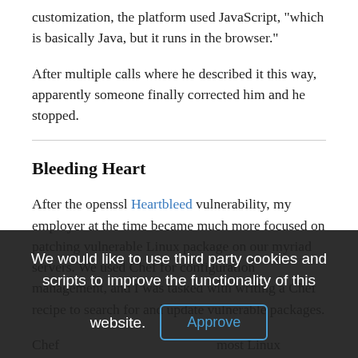customization, the platform used JavaScript, "which is basically Java, but it runs in the browser."
After multiple calls where he described it this way, apparently someone finally corrected him and he stopped.
Bleeding Heart
After the openssl Heartbleed vulnerability, my employer at the time became much more focused on patching vulnerable Linux package on our myriad servers. We used Chef for configuration management, and I was tasked with writing a Chef recipe to search for and update vulnerable packages. Chef ... most Linux packages use semantic versioning, with an x.y.z notation.
So, I did the obvious thing.
We would like to use third party cookies and scripts to improve the functionality of this website.
Approve